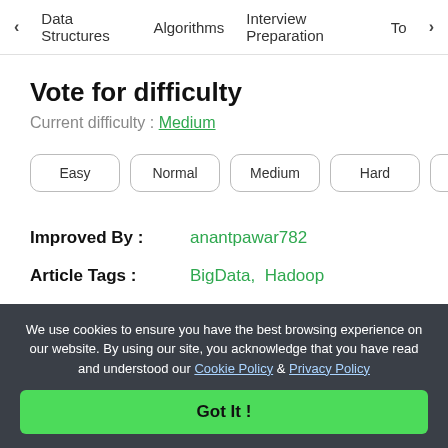< Data Structures   Algorithms   Interview Preparation   To>
Vote for difficulty
Current difficulty : Medium
Easy
Normal
Medium
Hard
Expert
Improved By : anantpawar782
Article Tags : BigData, Hadoop
Practice Tags : Hadoop
We use cookies to ensure you have the best browsing experience on our website. By using our site, you acknowledge that you have read and understood our Cookie Policy & Privacy Policy
Got It !